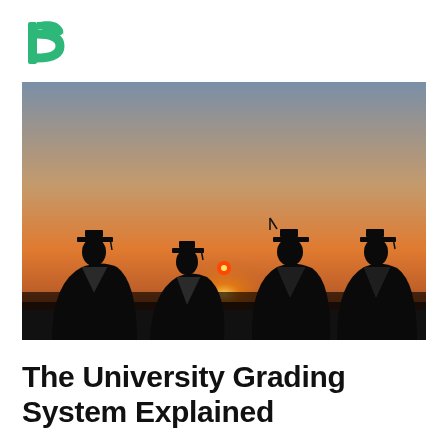[Figure (logo): Green stylized letter D logo / brand mark]
[Figure (photo): Silhouettes of four university graduates wearing mortarboard caps and gowns, standing against a sunset sky with a bright sun on the horizon]
The University Grading System Explained